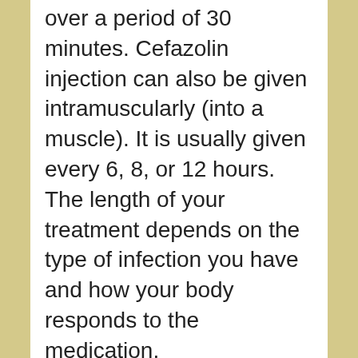over a period of 30 minutes. Cefazolin injection can also be given intramuscularly (into a muscle). It is usually given every 6, 8, or 12 hours. The length of your treatment depends on the type of infection you have and how your body responds to the medication.
You may receive cefazolin injection in a hospital or you may administer the medication at home. If you will be receiving cefazolin injection at home, your healthcare provider will show you how to use the medication. Be sure that you